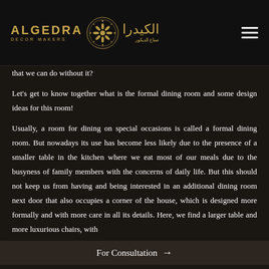ALGEDRA DECOR MAKERS / الكيدرا صناع الديكور
that we can do without it?
Let's get to know together what is the formal dining room and some design ideas for this room!
Usually, a room for dining on special occasions is called a formal dining room. But nowadays its use has become less likely due to the presence of a smaller table in the kitchen where we eat most of our meals due to the busyness of family members with the concerns of daily life. But this should not keep us from having and being interested in an additional dining room next door that also occupies a corner of the house, which is designed more formally and with more care in all its details. Here, we find a larger table and more luxurious chairs, with which we are ready to re
For Consultation →